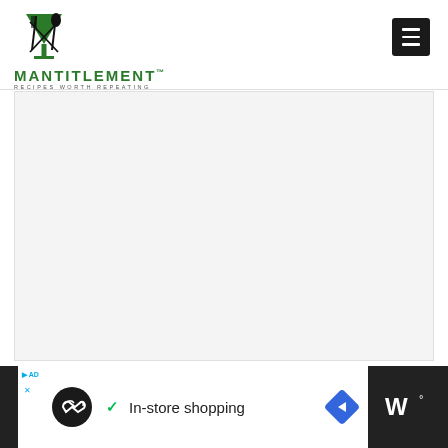[Figure (logo): Mantitlement logo with green martini glass icon, crossed fork and spoon, text MANTITLEMENT RECIPES WORTH REPEATING]
[Figure (screenshot): Gray placeholder content area, appears to be a blank/loading advertisement or image block]
[Figure (infographic): Advertisement banner: dark background with white area showing a circular black icon with infinity-like symbol, checkmark, text 'In-store shopping', blue diamond arrow icon, and white logo text on the right]